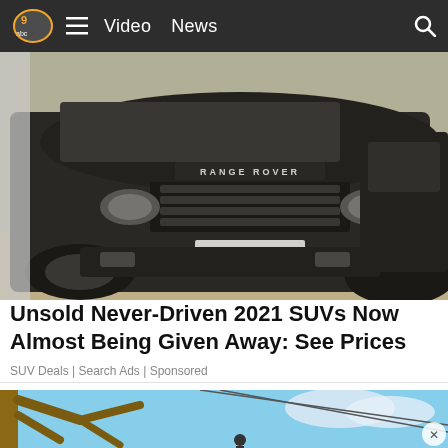Video  News
[Figure (photo): Front view of a dirty black Range Rover SUV parked next to another dark SUV]
Unsold Never-Driven 2021 SUVs Now Almost Being Given Away: See Prices
SUV Deals | Search Ads | Sponsored
[Figure (photo): Tree trimming scene with bare tree branches against a blue sky, worker visible at bottom]